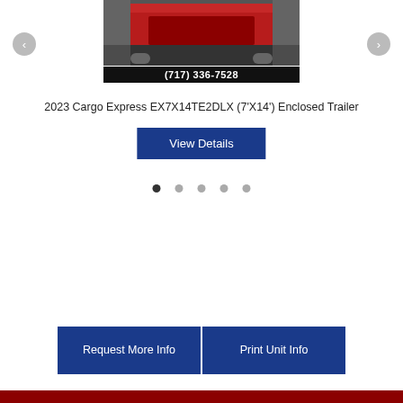[Figure (photo): Red enclosed trailer photo with phone number (717) 336-7528 overlaid at bottom]
2023 Cargo Express EX7X14TE2DLX (7'X14') Enclosed Trailer
View Details
[Figure (infographic): Pagination dots: 5 dots, first one active/dark, rest gray]
Request More Info
Print Unit Info